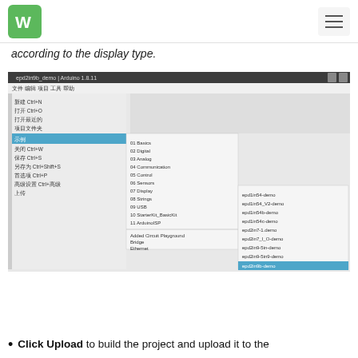WS logo and navigation hamburger menu
according to the display type.
[Figure (screenshot): Arduino IDE screenshot showing the File menu open with a sub-menu expanded under Examples, with 'epd2in9b-demo' highlighted at the bottom of the list. The code editor shows partial e-Paper display initialization code.]
Click Upload to build the project and upload it to the